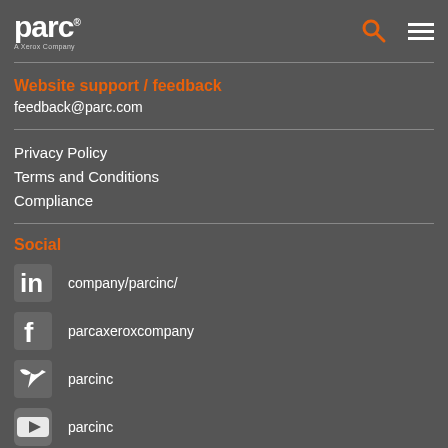parc - A Xerox Company
Website support / feedback
feedback@parc.com
Privacy Policy
Terms and Conditions
Compliance
Social
company/parcinc/
parcaxeroxcompany
parcinc
parcinc